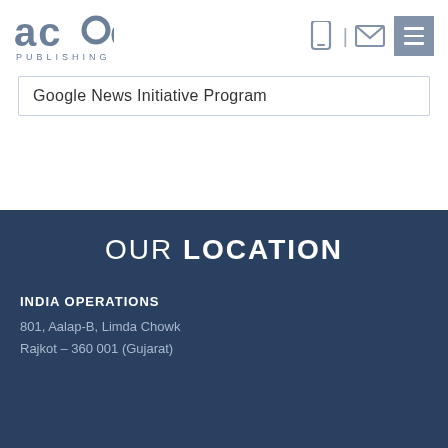ace PUBLISHING
Google News Initiative Program
OUR LOCATION
INDIA OPERATIONS
801, Aalap-B, Limda Chowk
Rajkot – 360 001 (Gujarat)